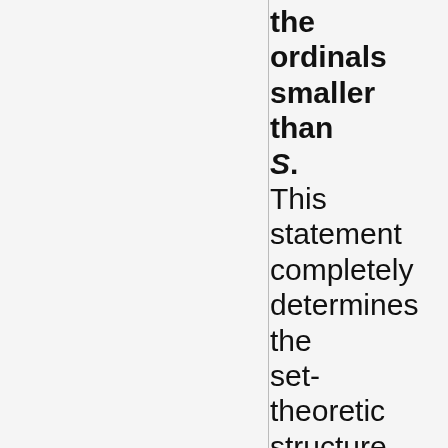the ordinals smaller than S. This statement completely determines the set-theoretic structure of every